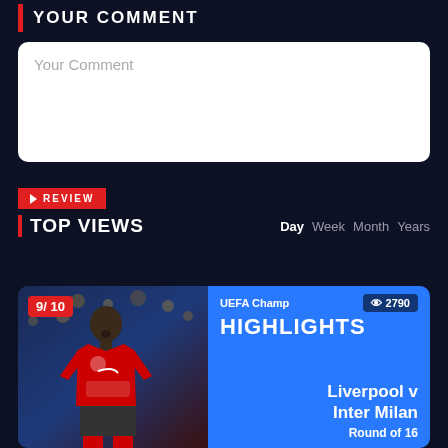YOUR COMMENT
Your Comment
REVIEW
TOP VIEWS
Day Week Month Years
[Figure (screenshot): Sports highlights card showing a Liverpool FC player in red kit with UEFA Champions League highlights card. Rating badge shows 9/10, views count 2790, match title Liverpool v Inter Milan, Round of 16]
9/10
UEFA Champ
2790
HIGHLIGHTS
Liverpool v Inter Milan
Round of 16